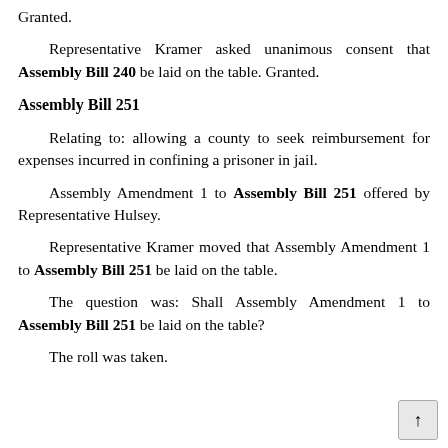Granted.
Representative Kramer asked unanimous consent that Assembly Bill 240 be laid on the table. Granted.
Assembly Bill 251
Relating to: allowing a county to seek reimbursement for expenses incurred in confining a prisoner in jail.
Assembly Amendment 1 to Assembly Bill 251 offered by Representative Hulsey.
Representative Kramer moved that Assembly Amendment 1 to Assembly Bill 251 be laid on the table.
The question was: Shall Assembly Amendment 1 to Assembly Bill 251 be laid on the table?
The roll was taken.